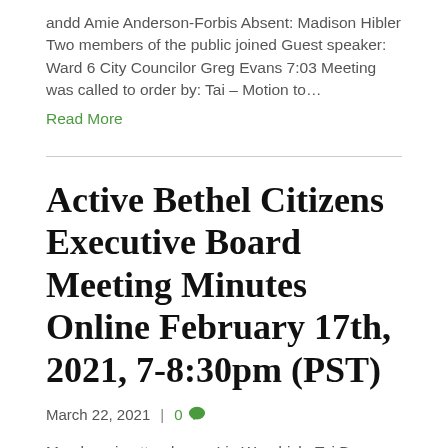andd Amie Anderson-Forbis Absent: Madison Hibler Two members of the public joined Guest speaker: Ward 6 City Councilor Greg Evans 7:03 Meeting was called to order by: Tai – Motion to…
Read More
Active Bethel Citizens Executive Board Meeting Minutes Online February 17th, 2021, 7-8:30pm (PST)
March 22, 2021  |  0
Members in attendance: Lin Woodrich, Tai Bruce-